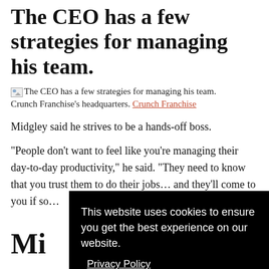The CEO has a few strategies for managing his team.
The CEO has a few strategies for managing his team. Crunch Franchise's headquarters. Crunch Franchise
Midgley said he strives to be a hands-off boss.
“People don’t want to feel like you’re managing their day-to-day productivity,” he said. “They need to know that you trust them to do their jobs… and they’ll come to you if so…
Mi… em…
[Figure (photo): Broken image placeholder at bottom left]
Crunch Franchise
This website uses cookies to ensure you get the best experience on our website. Privacy Policy
Accept